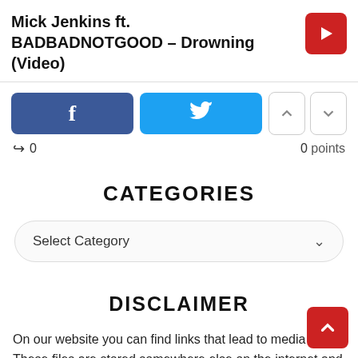Mick Jenkins ft. BADBADNOTGOOD – Drowning (Video)
[Figure (screenshot): Facebook share button (blue rounded rectangle with 'f' icon)]
[Figure (screenshot): Twitter share button (cyan rounded rectangle with bird icon)]
[Figure (screenshot): Vote up and vote down arrow buttons]
↪ 0
0 points
CATEGORIES
Select Category
DISCLAIMER
On our website you can find links that lead to media files. These files are stored somewhere else on the internet and